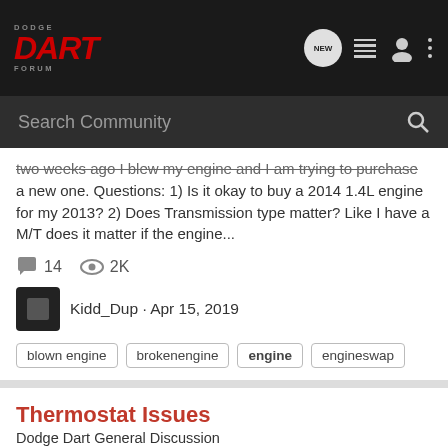Dodge Dart Forum
two weeks ago I blew my engine and I am trying to purchase a new one. Questions: 1) Is it okay to buy a 2014 1.4L engine for my 2013? 2) Does Transmission type matter? Like I have a M/T does it matter if the engine...
14  2K
Kidd_Dup · Apr 15, 2019
blown engine  brokenengine  engine  engineswap
Thermostat Issues
Dodge Dart General Discussion
I'm the owner of a 2015 Dart SXT 2.4 L. It has 78k miles on it ( I travel into the city for work) and has not given me any issues until now. I've noticed that when I sit in heavy traffic (Texas summer heat) my temp gauge starts to move up but